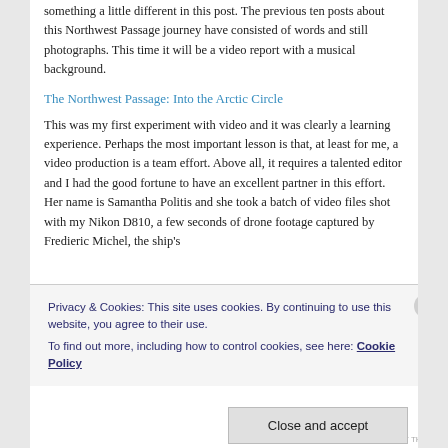something a little different in this post. The previous ten posts about this Northwest Passage journey have consisted of words and still photographs. This time it will be a video report with a musical background.
The Northwest Passage: Into the Arctic Circle
This was my first experiment with video and it was clearly a learning experience. Perhaps the most important lesson is that, at least for me, a video production is a team effort. Above all, it requires a talented editor and I had the good fortune to have an excellent partner in this effort. Her name is Samantha Politis and she took a batch of video files shot with my Nikon D810, a few seconds of drone footage captured by Fredieric Michel, the ship's
Privacy & Cookies: This site uses cookies. By continuing to use this website, you agree to their use.
To find out more, including how to control cookies, see here: Cookie Policy
Close and accept